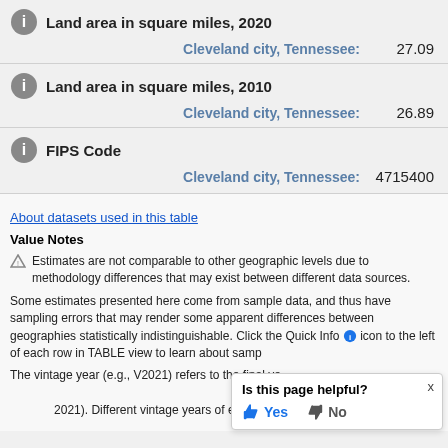Land area in square miles, 2020
Cleveland city, Tennessee: 27.09
Land area in square miles, 2010
Cleveland city, Tennessee: 26.89
FIPS Code
Cleveland city, Tennessee: 4715400
About datasets used in this table
Value Notes
Estimates are not comparable to other geographic levels due to methodology differences that may exist between different data sources.
Some estimates presented here come from sample data, and thus have sampling errors that may render some apparent differences between geographies statistically indistinguishable. Click the Quick Info icon to the left of each row in TABLE view to learn about samp
The vintage year (e.g., V2021) refers to the final ye 2021). Different vintage years of estimates are not